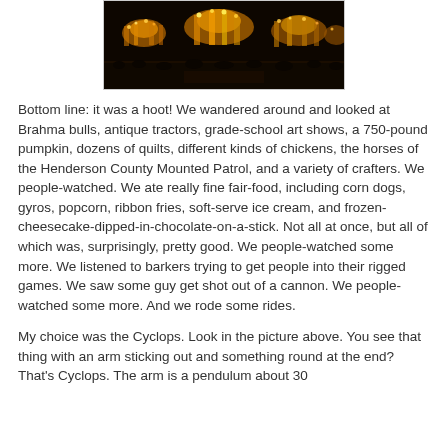[Figure (photo): Night-time photo of a fairground with illuminated rides and colorful lights against a dark sky, crowds visible in the foreground]
Bottom line: it was a hoot! We wandered around and looked at Brahma bulls, antique tractors, grade-school art shows, a 750-pound pumpkin, dozens of quilts, different kinds of chickens, the horses of the Henderson County Mounted Patrol, and a variety of crafters. We people-watched. We ate really fine fair-food, including corn dogs, gyros, popcorn, ribbon fries, soft-serve ice cream, and frozen-cheesecake-dipped-in-chocolate-on-a-stick. Not all at once, but all of which was, surprisingly, pretty good. We people-watched some more. We listened to barkers trying to get people into their rigged games. We saw some guy get shot out of a cannon. We people-watched some more. And we rode some rides.
My choice was the Cyclops. Look in the picture above. You see that thing with an arm sticking out and something round at the end? That's Cyclops. The arm is a pendulum about 30